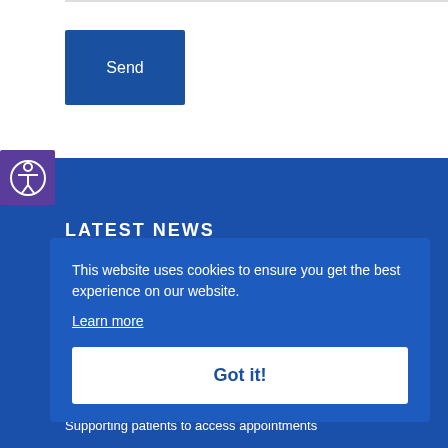[Figure (other): Blue 'Send' button for form submission]
[Figure (other): Accessibility icon button (purple square with person icon)]
LATEST NEWS
This website uses cookies to ensure you get the best experience on our website.
Learn more
Got it!
Supporting patients to access appointments